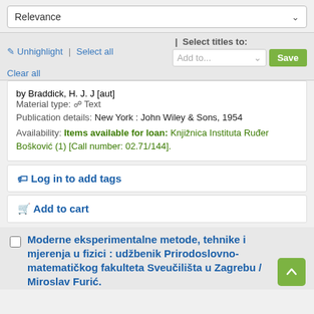Relevance
✏ Unhighlight | Select all | Select titles to: Add to... Save | Clear all
by Braddick, H. J. J [aut]
Material type: Text
Publication details: New York : John Wiley & Sons, 1954
Availability: Items available for loan: Knjižnica Instituta Ruđer Bošković (1) [Call number: 02.71/144].
🏷 Log in to add tags
🛒 Add to cart
Moderne eksperimentalne metode, tehnike i mjerenja u fizici : udžbenik Prirodoslovno-matematičkog fakulteta Sveučilišta u Zagrebu / Miroslav Furić.